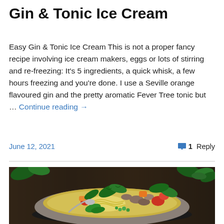Gin & Tonic Ice Cream
Easy Gin & Tonic Ice Cream This is not a proper fancy recipe involving ice cream makers, eggs or lots of stirring and re-freezing: It's 5 ingredients, a quick whisk, a few hours freezing and you're done. I use a Seville orange flavoured gin and the pretty aromatic Fever Tree tonic but … Continue reading →
June 12, 2021
1 Reply
[Figure (photo): A bowl of vegetable soup or stew with noodles, mushrooms, tomatoes, green vegetables and spinach leaves, photographed from above on a dark wooden surface with green herbs in the background.]